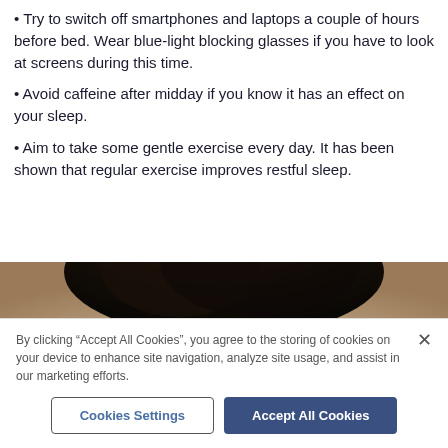Try to switch off smartphones and laptops a couple of hours before bed. Wear blue-light blocking glasses if you have to look at screens during this time.
Avoid caffeine after midday if you know it has an effect on your sleep.
Aim to take some gentle exercise every day. It has been shown that regular exercise improves restful sleep.
[Figure (photo): Close-up photo of the top of a person's head/forehead, dark hair visible, blurred background]
By clicking “Accept All Cookies”, you agree to the storing of cookies on your device to enhance site navigation, analyze site usage, and assist in our marketing efforts.